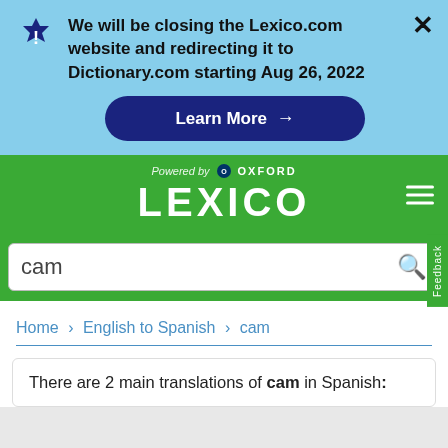We will be closing the Lexico.com website and redirecting it to Dictionary.com starting Aug 26, 2022
Learn More →
[Figure (logo): Lexico powered by Oxford logo on green background]
cam
Home › English to Spanish › cam
There are 2 main translations of cam in Spanish: